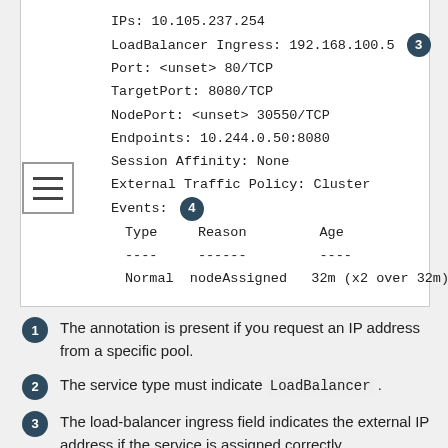[Figure (screenshot): Terminal/console screenshot showing Kubernetes service details: IPs, LoadBalancer Ingress, Port, TargetPort, NodePort, Endpoints, Session Affinity, External Traffic Policy, and Events table with Type, Reason, Age columns and a Normal/nodeAssigned row. Numbered badges 3 and 4 annotate specific fields.]
The annotation is present if you request an IP address from a specific pool.
The service type must indicate LoadBalancer .
The load-balancer ingress field indicates the external IP address if the service is assigned correctly.
The events field indicates the node name that is assigned to announce the external IP address. If you...